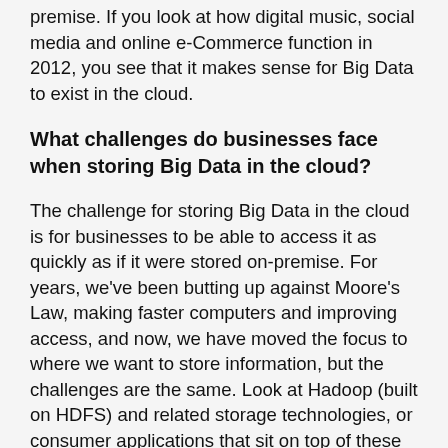premise. If you look at how digital music, social media and online e-Commerce function in 2012, you see that it makes sense for Big Data to exist in the cloud.
What challenges do businesses face when storing Big Data in the cloud?
The challenge for storing Big Data in the cloud is for businesses to be able to access it as quickly as if it were stored on-premise. For years, we've been butting up against Moore's Law, making faster computers and improving access, and now, we have moved the focus to where we want to store information, but the challenges are the same. Look at Hadoop (built on HDFS) and related storage technologies, or consumer applications that sit on top of these technologies like Spotify. The storage has now relatedly all